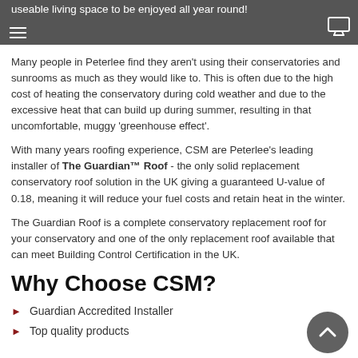useable living space to be enjoyed all year round!
Many people in Peterlee find they aren't using their conservatories and sunrooms as much as they would like to. This is often due to the high cost of heating the conservatory during cold weather and due to the excessive heat that can build up during summer, resulting in that uncomfortable, muggy 'greenhouse effect'.
With many years roofing experience, CSM are Peterlee's leading installer of The Guardian™ Roof - the only solid replacement conservatory roof solution in the UK giving a guaranteed U-value of 0.18, meaning it will reduce your fuel costs and retain heat in the winter.
The Guardian Roof is a complete conservatory replacement roof for your conservatory and one of the only replacement roof available that can meet Building Control Certification in the UK.
Why Choose CSM?
Guardian Accredited Installer
Top quality products